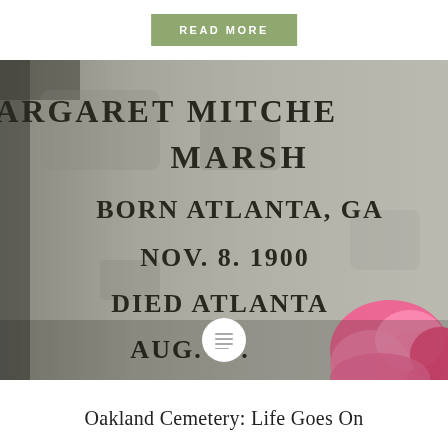READ MORE
[Figure (photo): Close-up photograph of a granite gravestone inscription reading: MARGARET MITCHE[LL] MARSH BORN ATLANTA, GA NOV. 8. 1900 DIED ATLANTA AUG. 16. [1949], with pink flowers visible in the lower right corner.]
Oakland Cemetery: Life Goes On